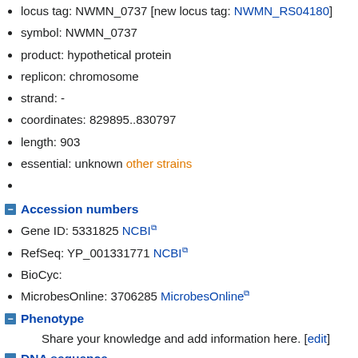locus tag: NWMN_0737 [new locus tag: NWMN_RS04180]
symbol: NWMN_0737
product: hypothetical protein
replicon: chromosome
strand: -
coordinates: 829895..830797
length: 903
essential: unknown other strains
Accession numbers
Gene ID: 5331825 NCBI
RefSeq: YP_001331771 NCBI
BioCyc:
MicrobesOnline: 3706285 MicrobesOnline
Phenotype
Share your knowledge and add information here. [edit]
DNA sequence
1
61
121
181
241